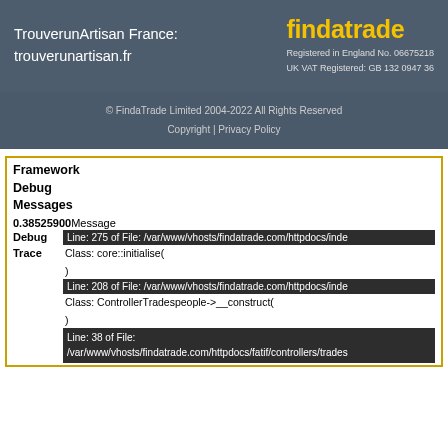TrouverunArtisan France: trouverunartisan.fr | findatrade | Registered in England No. 06675218 | UK VAT Registered: GB 132 0947 36
© FindaTrade Limited 2004-2022 All Rights Reserved
Copyright | Privacy Policy
Framework
Debug
Messages
0.38525900 Message
Debug   Line: 275 of File: /var/www/vhosts/findatrade.com/httpdocs/inde
Trace   Class: core::initialise(
)
Line: 208 of File: /var/www/vhosts/findatrade.com/httpdocs/inde
Class: ControllerTradespeople->__construct(
)
Line: 38 of File:
/var/www/vhosts/findatrade.com/httpdocs/fatif/controllers/trades